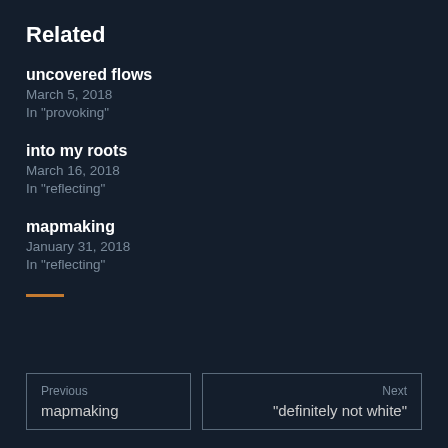Related
uncovered flows
March 5, 2018
In "provoking"
into my roots
March 16, 2018
In "reflecting"
mapmaking
January 31, 2018
In "reflecting"
Previous
mapmaking
Next
“definitely not white”